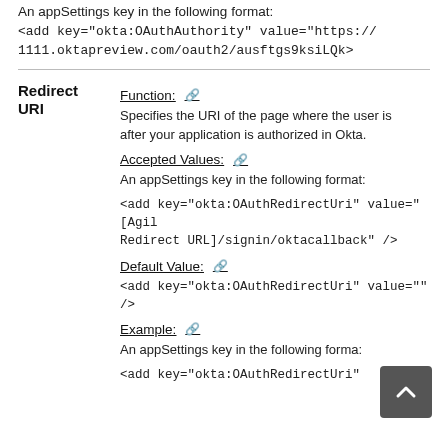An appSettings key in the following format:
<add key="okta:OAuthAuthority" value="https://1111.oktapreview.com/oauth2/ausftgs9ksiLQk>
Redirect URI
Function: 🔗
Specifies the URI of the page where the user is after your application is authorized in Okta.
Accepted Values: 🔗
An appSettings key in the following format:
<add key="okta:OAuthRedirectUri" value="[Agil Redirect URL]/signin/oktacallback" />
Default Value: 🔗
<add key="okta:OAuthRedirectUri" value="" />
Example: 🔗
An appSettings key in the following forma:
<add key="okta:OAuthRedirectUri"